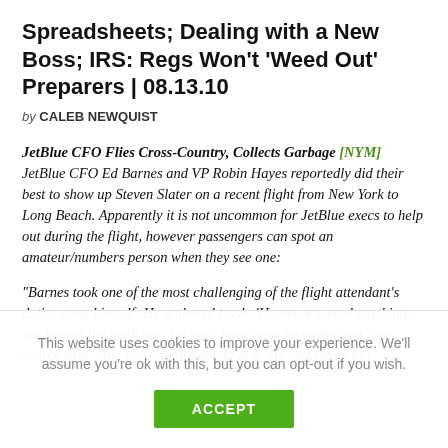Spreadsheets; Dealing with a New Boss; IRS: Regs Won't 'Weed Out' Preparers | 08.13.10
by CALEB NEWQUIST
JetBlue CFO Flies Cross-Country, Collects Garbage [NYM] JetBlue CFO Ed Barnes and VP Robin Hayes reportedly did their best to show up Steven Slater on a recent flight from New York to Long Beach. Apparently it is not uncommon for JetBlue execs to help out during the flight, however passengers can spot an amateur/numbers person when they see one:
"Barnes took one of the most challenging of the flight attendant's duties upon himself: He gathered trash. 'He never served anything, but he was the trash guy. He must have gone by eight times,' our source said. 'And he was kind of bad at it. He was really tall
This website uses cookies to improve your experience. We'll assume you're ok with this, but you can opt-out if you wish.
ACCEPT